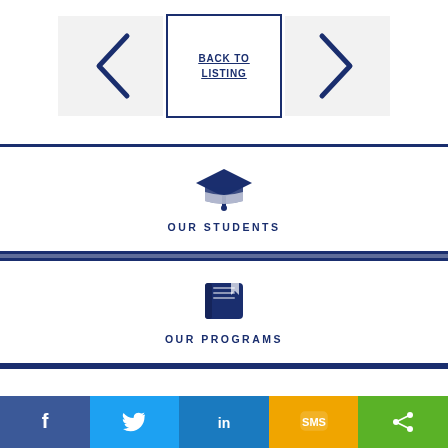[Figure (other): Navigation row with left arrow, BACK TO LISTING center button, and right arrow]
[Figure (other): OUR STUDENTS section with graduation cap icon]
[Figure (other): OUR PROGRAMS section with book icon]
[Figure (other): Social sharing bar with Facebook, Twitter, LinkedIn, SMS, and Share buttons]